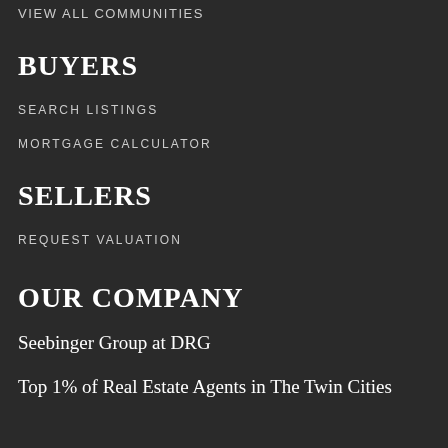VIEW ALL COMMUNITIES
BUYERS
SEARCH LISTINGS
MORTGAGE CALCULATOR
SELLERS
REQUEST VALUATION
OUR COMPANY
Seebinger Group at DRG
Top 1% of Real Estate Agents in The Twin Cities